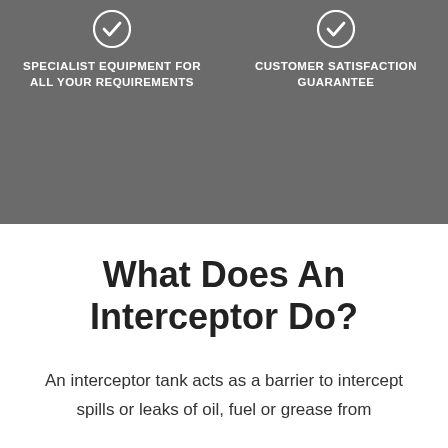[Figure (infographic): Checkmark icon for specialist equipment feature]
SPECIALIST EQUIPMENT FOR ALL YOUR REQUIREMENTS
[Figure (infographic): Checkmark icon for customer satisfaction guarantee feature]
CUSTOMER SATISFACTION GUARANTEE
What Does An Interceptor Do?
An interceptor tank acts as a barrier to intercept spills or leaks of oil, fuel or grease from